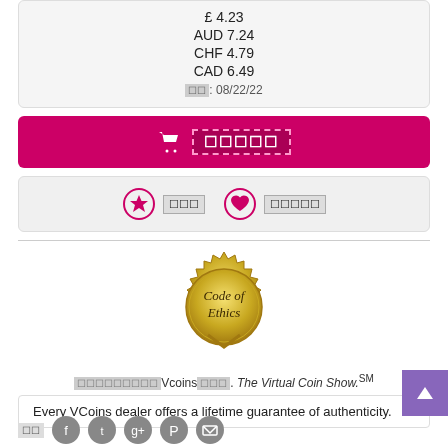£ 4.23
AUD 7.24
CHF 4.79
CAD 6.49
[date]: 08/22/22
[Add to Cart button]
[Watchlist] [Wishlist] action buttons
[Figure (illustration): Gold seal badge with text 'Code of Ethics' and serrated edge]
[garbled text] Vcoins[garbled]. The Virtual Coin Show.SM
Every VCoins dealer offers a lifetime guarantee of authenticity.
Share bar with social icons: Facebook, Twitter, Google+, Pinterest, Email